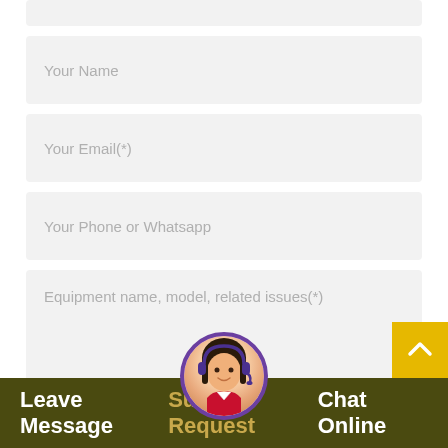[Figure (screenshot): Web contact form with input fields for Your Name, Your Email(*), Your Phone or Whatsapp, and Equipment name, model, related issues(*)]
Your Name
Your Email(*)
Your Phone or Whatsapp
Equipment name, model, related issues(*)
Leave Message  Submit Request  Chat Online